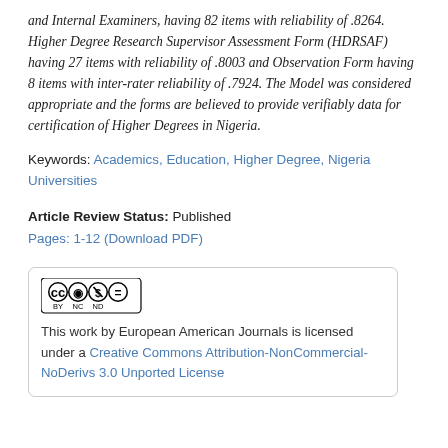and Internal Examiners, having 82 items with reliability of .8264. Higher Degree Research Supervisor Assessment Form (HDRSAF) having 27 items with reliability of .8003 and Observation Form having 8 items with inter-rater reliability of .7924. The Model was considered appropriate and the forms are believed to provide verifiably data for certification of Higher Degrees in Nigeria.
Keywords: Academics, Education, Higher Degree, Nigeria Universities
Article Review Status: Published
Pages: 1-12 (Download PDF)
This work by European American Journals is licensed under a Creative Commons Attribution-NonCommercial-NoDerivs 3.0 Unported License